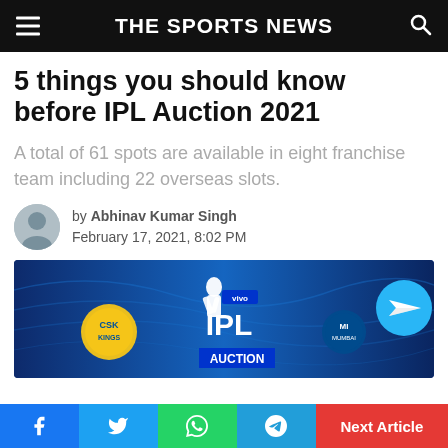THE SPORTS NEWS
5 things you should know before IPL Auction 2021
A total of 61 spots are available in eight franchise team including 22 overseas slots.
by Abhinav Kumar Singh
February 17, 2021, 8:02 PM
[Figure (photo): IPL Auction 2021 banner with Vivo IPL logo, CSK and MI team logos, and a Telegram icon on a blue background]
Next Article